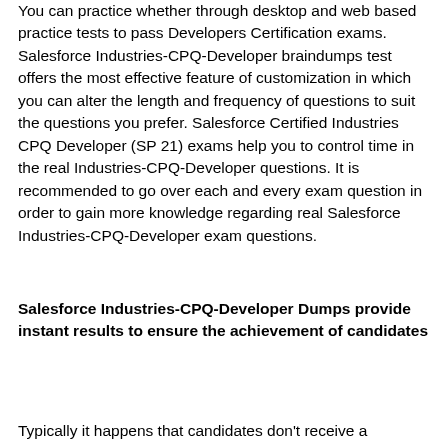You can practice whether through desktop and web based practice tests to pass Developers Certification exams. Salesforce Industries-CPQ-Developer braindumps test offers the most effective feature of customization in which you can alter the length and frequency of questions to suit the questions you prefer. Salesforce Certified Industries CPQ Developer (SP 21) exams help you to control time in the real Industries-CPQ-Developer questions. It is recommended to go over each and every exam question in order to gain more knowledge regarding real Salesforce Industries-CPQ-Developer exam questions.
Salesforce Industries-CPQ-Developer Dumps provide instant results to ensure the achievement of candidates
Typically it happens that candidates don't receive a